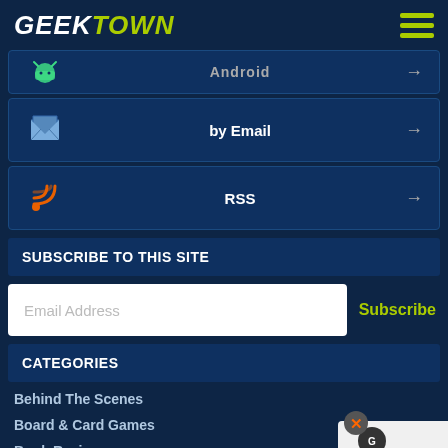GEEKTOWN
[Figure (screenshot): Partial subscribe row with Android icon and 'Android' label and arrow]
[Figure (screenshot): Subscribe by Email row with email icon and arrow]
[Figure (screenshot): Subscribe RSS row with orange RSS icon and arrow]
SUBSCRIBE TO THIS SITE
Email Address
Subscribe
CATEGORIES
Behind The Scenes
Board & Card Games
Book Reviews